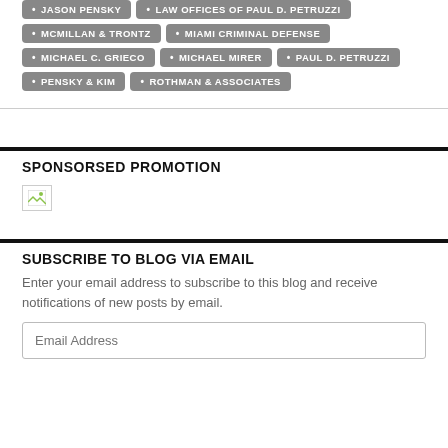JASON PENSKY
LAW OFFICES OF PAUL D. PETRUZZI
MCMILLAN & TRONTZ
MIAMI CRIMINAL DEFENSE
MICHAEL C. GRIECO
MICHAEL MIRER
PAUL D. PETRUZZI
PENSKY & KIM
ROTHMAN & ASSOCIATES
SPONSORSED PROMOTION
[Figure (photo): Broken image placeholder for sponsored promotion]
SUBSCRIBE TO BLOG VIA EMAIL
Enter your email address to subscribe to this blog and receive notifications of new posts by email.